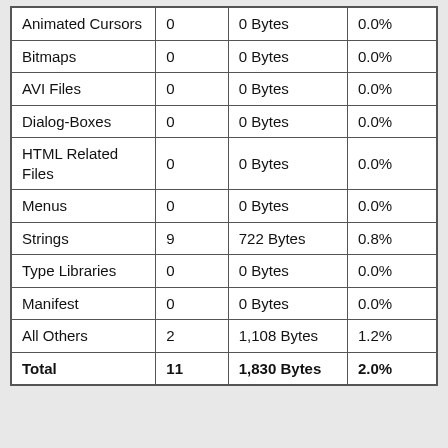| Animated Cursors | 0 | 0 Bytes | 0.0% |
| Bitmaps | 0 | 0 Bytes | 0.0% |
| AVI Files | 0 | 0 Bytes | 0.0% |
| Dialog-Boxes | 0 | 0 Bytes | 0.0% |
| HTML Related Files | 0 | 0 Bytes | 0.0% |
| Menus | 0 | 0 Bytes | 0.0% |
| Strings | 9 | 722 Bytes | 0.8% |
| Type Libraries | 0 | 0 Bytes | 0.0% |
| Manifest | 0 | 0 Bytes | 0.0% |
| All Others | 2 | 1,108 Bytes | 1.2% |
| Total | 11 | 1,830 Bytes | 2.0% |